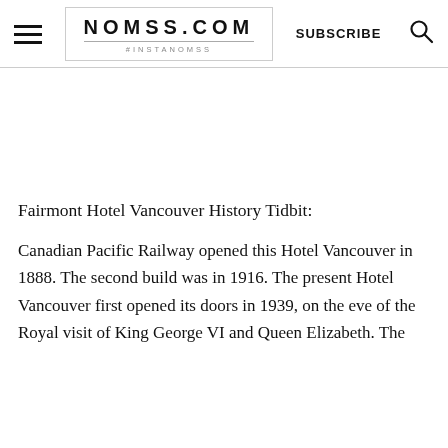NOMSS.COM #INSTANOMSS SUBSCRIBE
Fairmont Hotel Vancouver History Tidbit:
Canadian Pacific Railway opened this Hotel Vancouver in 1888. The second build was in 1916. The present Hotel Vancouver first opened its doors in 1939, on the eve of the Royal visit of King George VI and Queen Elizabeth. The